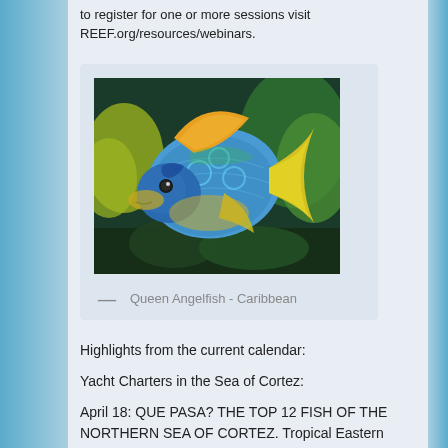to register for one or more sessions visit REEF.org/resources/webinars.
[Figure (photo): A colorful Queen Angelfish photographed underwater in the Caribbean, showing vivid blue, green, and yellow coloring against a coral reef background.]
— Queen Angelfish - Caribbean
Highlights from the current calendar:
Yacht Charters in the Sea of Cortez:
April 18: QUE PASA? THE TOP 12 FISH OF THE NORTHERN SEA OF CORTEZ. Tropical Eastern
Pacific (TEP) region REEF Fish ID: Learn tips from REEF